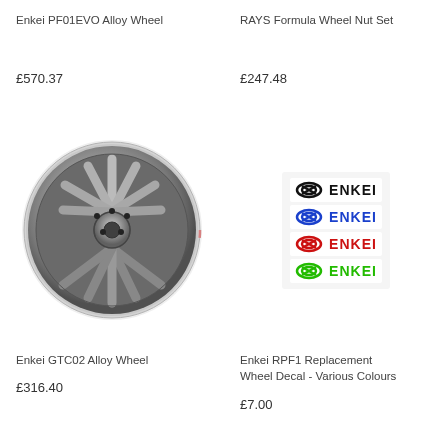Enkei PF01EVO Alloy Wheel
RAYS Formula Wheel Nut Set
£570.37
£247.48
[Figure (photo): Enkei GTC02 alloy wheel, silver/chrome finish, multi-spoke design]
[Figure (photo): Enkei RPF1 replacement wheel decal sticker sheet with four colour variants: black, blue, red, green]
Enkei GTC02 Alloy Wheel
Enkei RPF1 Replacement Wheel Decal - Various Colours
£316.40
£7.00